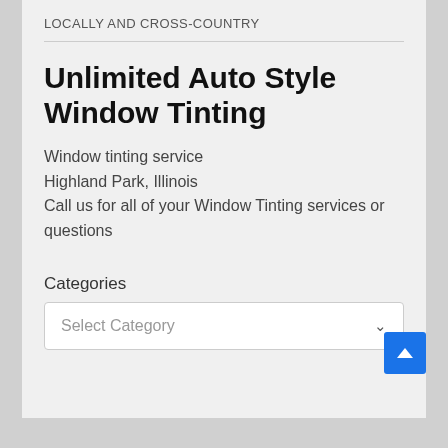LOCALLY AND CROSS-COUNTRY
Unlimited Auto Style Window Tinting
Window tinting service
Highland Park, Illinois
Call us for all of your Window Tinting services or questions
Categories
Select Category